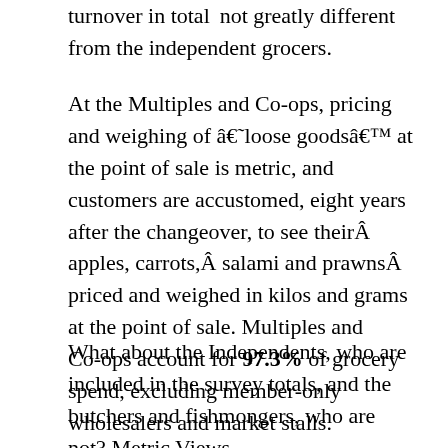turnover in total, not greatly different from the independent grocers.
At the Multiples and Co-ops, pricing and weighing of ‘loose goods’ at the point of sale is metric, and customers are accustomed, eight years after the changeover, to see their apples, carrots, salami and prawns priced and weighed in kilos and grams at the point of sale. Multiples and Co-ops account for 97.3% of grocery spend, excluding member-only wholesalers and market stalls.
What about the Independents, who are included in the survey totals, and the butchers and fishmongers, who are not? Metric Views believes that most‘pricing and weighing is at’